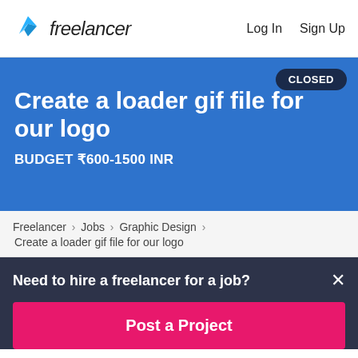Freelancer | Log In  Sign Up
Create a loader gif file for our logo
BUDGET ₹600-1500 INR
CLOSED
Freelancer › Jobs › Graphic Design › Create a loader gif file for our logo
Need to hire a freelancer for a job?
Post a Project